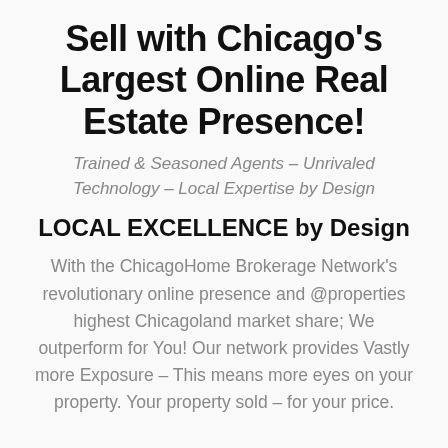Sell with Chicago's Largest Online Real Estate Presence!
Trained & Seasoned Agents – Unrivaled Technology – Local Expertise by Design
LOCAL EXCELLENCE by Design
With the ChicagoHome Brokerage Network's revolutionary online presence and @properties highest Chicagoland market share; We outperform for You! Our network provides Vastly more Exposure – This means more eyes on your property. Your property sold – for your price.